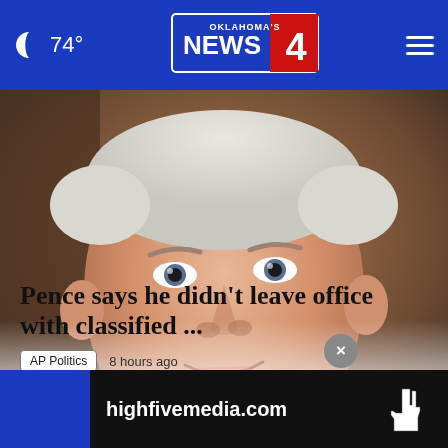🌙 74° — Oklahoma's News 4
[Figure (photo): Close-up portrait of former Vice President Mike Pence, white-haired man in a dark jacket, looking slightly to the right, with blurred colorful background]
Pence says he didn't leave office with classified ...
AP Politics   8 hours ago
DES MOINES, Iowa (AP) — Former Vice President Mike Pence said Friday that he didn't take any classified information with him when he left office. The disclosure which would typically be unremarkable for a former vice presi... classified...
[Figure (screenshot): Advertisement banner: highfivemedia.com with hand logo on dark background, with blue strip on left and close button (×)]